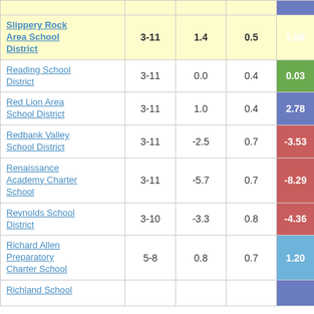| School/District | Grades | Col3 | Col4 | Score |
| --- | --- | --- | --- | --- |
| Slippery Rock Area School District | 3-11 | 1.4 | 0.5 | 2.68 |
| Reading School District | 3-11 | 0.0 | 0.4 | 0.03 |
| Red Lion Area School District | 3-11 | 1.0 | 0.4 | 2.78 |
| Redbank Valley School District | 3-11 | -2.5 | 0.7 | -3.53 |
| Renaissance Academy Charter School | 3-11 | -5.7 | 0.7 | -8.29 |
| Reynolds School District | 3-10 | -3.3 | 0.8 | -4.36 |
| Richard Allen Preparatory Charter School | 5-8 | 0.8 | 0.7 | 1.20 |
| Richland School ... |  |  |  |  |